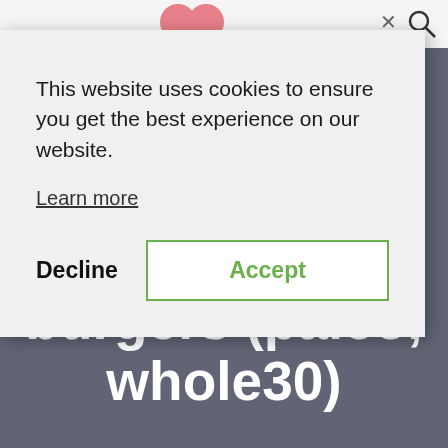[Figure (screenshot): Website screenshot showing a cookie consent modal over a recipe page. The modal has 'This website uses cookies to ensure you get the best experience on our website.' text, a 'Learn more' link, a 'Decline' button, and an 'Accept' button with green border. Behind the modal, a recipe page with title 'burgers (paleo, whole30)' on a dark blue-gray background, with Author: Gail and Total Time: 30 minutes visible at the bottom.]